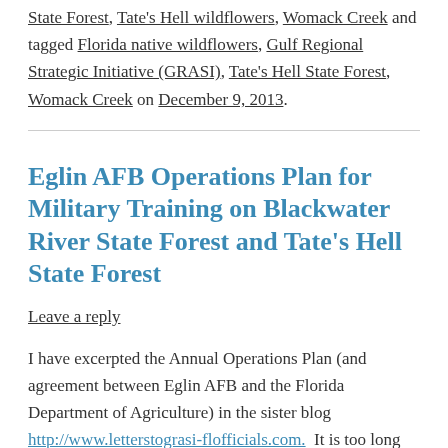State Forest, Tate's Hell wildflowers, Womack Creek and tagged Florida native wildflowers, Gulf Regional Strategic Initiative (GRASI), Tate's Hell State Forest, Womack Creek on December 9, 2013.
Eglin AFB Operations Plan for Military Training on Blackwater River State Forest and Tate's Hell State Forest
Leave a reply
I have excerpted the Annual Operations Plan (and agreement between Eglin AFB and the Florida Department of Agriculture) in the sister blog http://www.letterstograsi-flofficials.com. It is too long for me to retype it here.